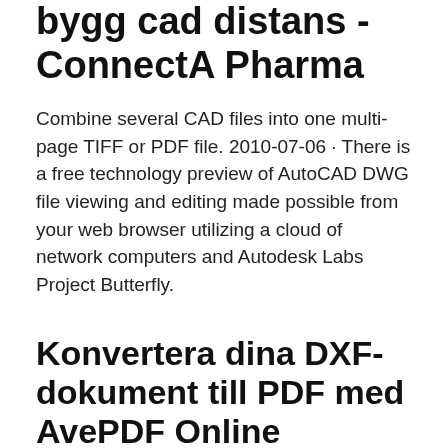bygg cad distans - ConnectA Pharma
Combine several CAD files into one multi-page TIFF or PDF file. 2010-07-06 · There is a free technology preview of AutoCAD DWG file viewing and editing made possible from your web browser utilizing a cloud of network computers and Autodesk Labs Project Butterfly.
Konvertera dina DXF-dokument till PDF med AvePDF Online
SmartDraw offers a way for teams to use diagrams to capture and share information and collaborate on